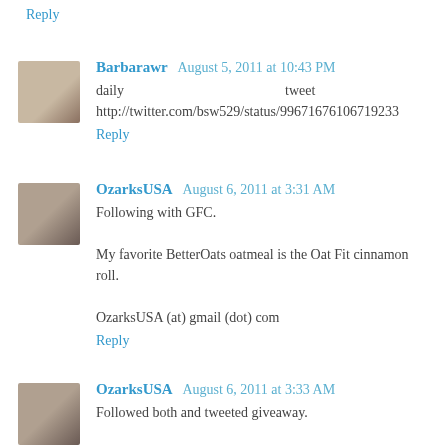Reply
Barbarawr  August 5, 2011 at 10:43 PM
daily    tweet
http://twitter.com/bsw529/status/99671676106719233
Reply
OzarksUSA  August 6, 2011 at 3:31 AM
Following with GFC.

My favorite BetterOats oatmeal is the Oat Fit cinnamon roll.

OzarksUSA (at) gmail (dot) com
Reply
OzarksUSA  August 6, 2011 at 3:33 AM
Followed both and tweeted giveaway.